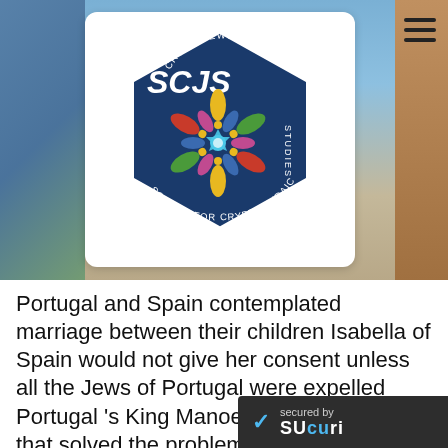[Figure (logo): SCJS Society for Crypto-Judaic Studies logo — hexagonal dark blue badge with colorful mandala/Star of David pattern, text 'SCJS', 'CRYPTOJEWS.COM', 'SOCIETY FOR CRYPTO-JUDAIC STUDIES']
Portugal and Spain contemplated marriage between their children Isabella of Spain would not give her consent unless all the Jews of Portugal were expelled Portugal 's King Manoel reluctant to do that solved the problem by forcing every Jew to convert Jewish children were baptized by force Their pare that if they did not convert t